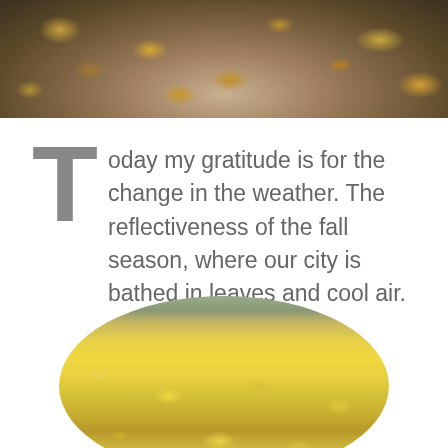[Figure (photo): Top portion of a photo showing fallen autumn leaves scattered on a surface, cropped at the top of the page]
Today my gratitude is for the change in the weather. The reflectiveness of the fall season, where our city is bathed in leaves and cool air.
[Figure (photo): Oval/circular cropped photo of yellow and orange autumn leaves piled on a concrete or stone surface, taken from above]